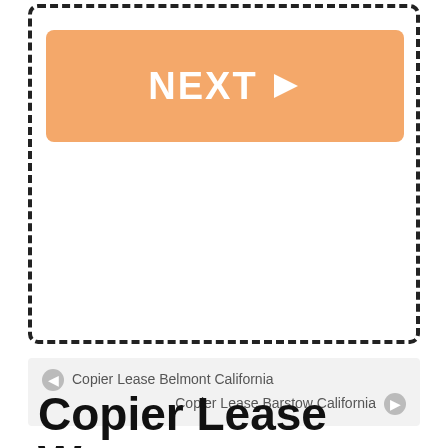[Figure (other): Orange NEXT button with right-pointing triangle inside a dashed border box]
Copier Lease Belmont California
Copier Lease Barstow California
Copier Lease Wasco California
Copier Lease in California
Copier Lease Companies Wasco